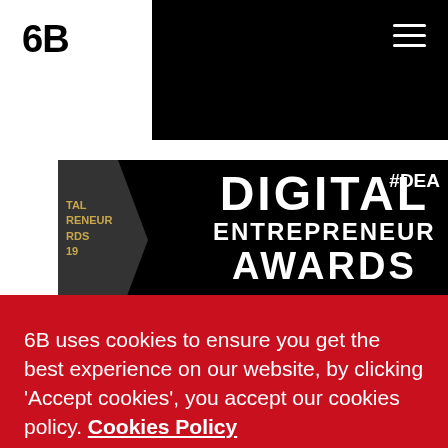6B
[Figure (screenshot): Digital Entrepreneur Awards 2019 banner on black background with arrow graphic, hashtag #DEA visible top right, text: DIGITAL ENTREPRENEUR AWARDS]
6B uses cookies to ensure you get the best experience on our website, by clicking 'Accept cookies', you accept our cookies policy. Cookies Policy
Accept cookies
Decline cookies